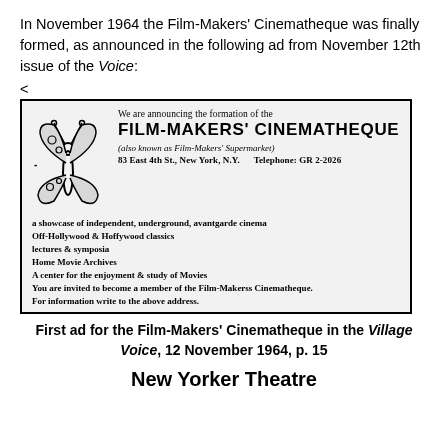In November 1964 the Film-Makers' Cinematheque was finally formed, as announced in the following ad from November 12th issue of the Voice:
<
[Figure (other): Newspaper advertisement for the Film-Makers' Cinematheque featuring a butterfly illustration and bold text announcing the formation of the Film-Makers' Cinematheque (also known as Film-Makers' Supermarket), 83 East 4th St., New York, N.Y., Telephone: GR 2-2026. Lists: a showcase of independent, underground, avantgarde cinema; Off-Hollywood & Hoffywood classics; lectures & symposia; Home Movie Archives; A center for the enjoyment & study of Movies; You are invited to become a member of the Film-Makerss Cinematheque. For information write to the above address.]
First ad for the Film-Makers' Cinematheque in the Village Voice, 12 November 1964, p. 15
New Yorker Theatre